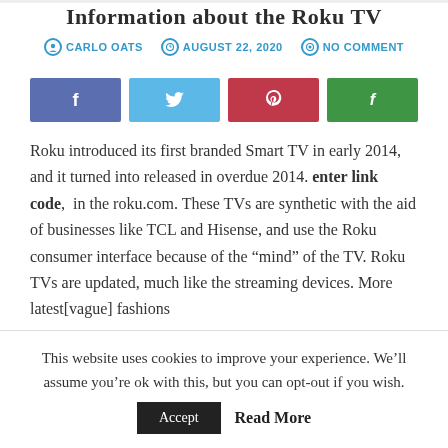Information about the Roku TV
CARLO OATS   AUGUST 22, 2020   NO COMMENT
[Figure (other): Social sharing buttons: Facebook (blue), Twitter (light blue), Pinterest (red), Flipboard (green)]
Roku introduced its first branded Smart TV in early 2014, and it turned into released in overdue 2014. enter link code,  in the roku.com. These TVs are synthetic with the aid of businesses like TCL and Hisense, and use the Roku consumer interface because of the “mind” of the TV. Roku TVs are updated, much like the streaming devices. More latest[vague] fashions
This website uses cookies to improve your experience. We’ll assume you’re ok with this, but you can opt-out if you wish.
Accept   Read More